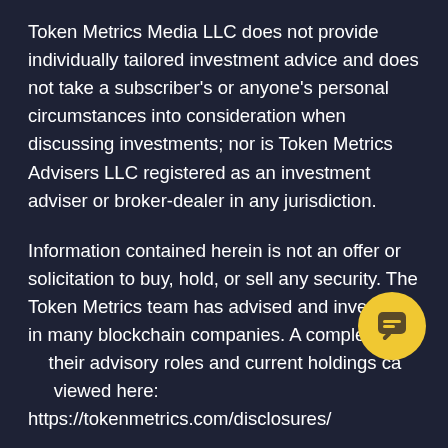Token Metrics Media LLC does not provide individually tailored investment advice and does not take a subscriber's or anyone's personal circumstances into consideration when discussing investments; nor is Token Metrics Advisers LLC registered as an investment adviser or broker-dealer in any jurisdiction.
Information contained herein is not an offer or solicitation to buy, hold, or sell any security. The Token Metrics team has advised and invested in many blockchain companies. A complete list of their advisory roles and current holdings can be viewed here: https://tokenmetrics.com/disclosures/
Token Metrics Media LLC relies on information
[Figure (other): Yellow circular chat button icon in the lower right area of the page]